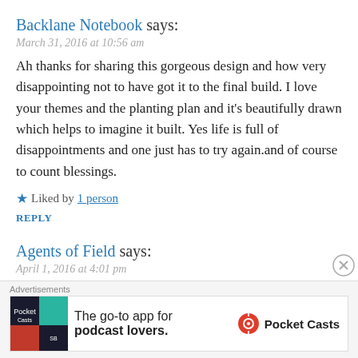Backlane Notebook says:
March 31, 2016 at 10:56 am
Ah thanks for sharing this gorgeous design and how very disappointing not to have got it to the final build. I love your themes and the planting plan and it's beautifully drawn which helps to imagine it built. Yes life is full of disappointments and one just has to try again.and of course to count blessings.
★ Liked by 1 person
REPLY
Agents of Field says:
April 1, 2016 at 4:01 pm
Absolutely, I couldn't agree more. And thank you for your kind compliments. Onwards & upwards!
[Figure (infographic): Advertisement banner for Pocket Casts app - 'The go-to app for podcast lovers.']